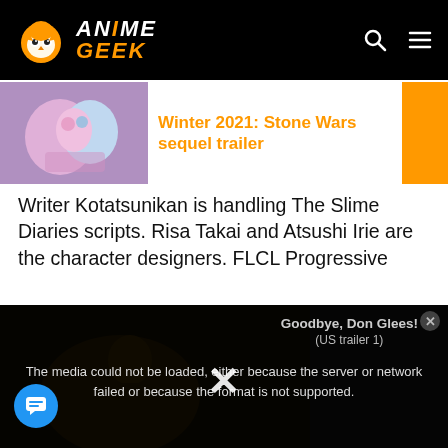Anime Geek
[Figure (screenshot): Article thumbnail showing animated characters with pink/blue tones]
Winter 2021: Stone Wars sequel trailer
Writer Kotatsunikan is handling The Slime Diaries scripts. Risa Takai and Atsushi Irie are the character designers. FLCL Progressive
[Figure (screenshot): Video player showing anime character, with error overlay: 'The media could not be loaded, either because the server or network failed or because the format is not supported.' and popup 'Goodbye, Don Glees! (US trailer 1)']
performed by Akane Kumada. The ED (ending) theme song music has not been announced yet.